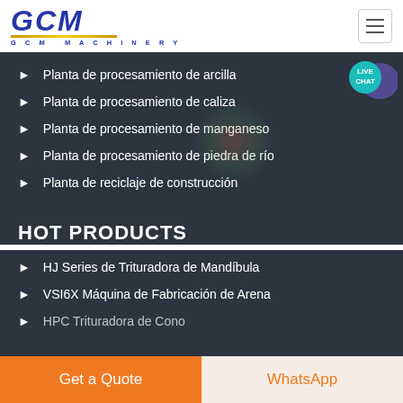[Figure (logo): GCM Machinery logo with blue italic letters and gold underline]
Planta de procesamiento de arcilla
Planta de procesamiento de caliza
Planta de procesamiento de manganeso
Planta de procesamiento de piedra de río
Planta de reciclaje de construcción
HOT PRODUCTS
HJ Series de Trituradora de Mandíbula
VSI6X Máquina de Fabricación de Arena
HPC Trituradora de Cono